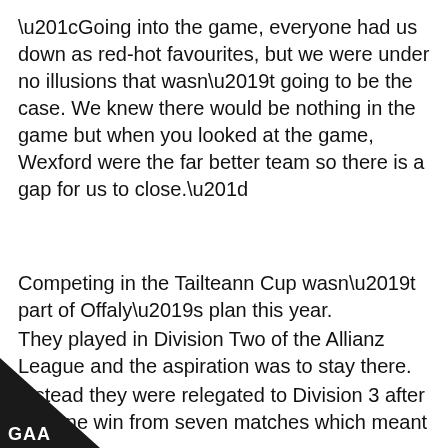“Going into the game, everyone had us down as red-hot favourites, but we were under no illusions that wasn’t going to be the case. We knew there would be nothing in the game but when you looked at the game, Wexford were the far better team so there is a gap for us to close.”
Competing in the Tailteann Cup wasn’t part of Offaly’s plan this year.
They played in Division Two of the Allianz League and the aspiration was to stay there.
Instead they were relegated to Division 3 after just one win from seven matches which meant the Leinster SFC defeat to Wexford saw them enter the Tailteann Cup draw.
[Figure (logo): GAA logo in white text on black triangle in bottom-left corner]